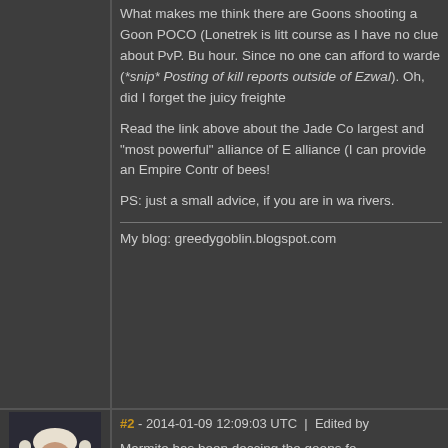What makes me think there are Goons shooting a Goon POCO (Lonetrek is little course as I have no clue about PvP. But hour. Since no one can afford to warded (*snip* Posting of kill reports outside of Ezwal). Oh, did I forget the juicy freighte
Read the link above about the Jade Con largest and "most powerful" alliance of E alliance (I can provide an Empire Contro of bees!
PS: just a small advice, if you are in wa rivers.
My blog: greedygoblin.blogspot.com
#2 - 2014-01-09 12:09:03 UTC | Edited by
[Figure (illustration): Forum avatar: a character with long white/blonde hair and beard wearing dark military-style jacket against a dark background]
Marmite has been deccing the goons fo
The thing is however. It has not really d from Marmites point of view that they a